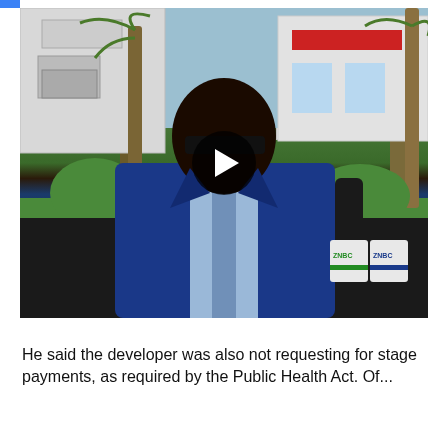[Figure (screenshot): Video thumbnail showing a man in a blue suit being interviewed outdoors, holding a ZNBC microphone, with a play button overlay in the center. Background shows buildings, palm trees, and green shrubs. ZNBC logos visible on the microphone.]
He said the developer was also not requesting for stage payments, as required by the Public Health Act. Of...